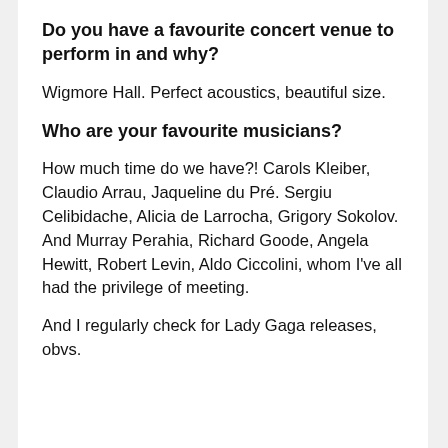Do you have a favourite concert venue to perform in and why?
Wigmore Hall. Perfect acoustics, beautiful size.
Who are your favourite musicians?
How much time do we have?! Carols Kleiber, Claudio Arrau, Jaqueline du Pré. Sergiu Celibidache, Alicia de Larrocha, Grigory Sokolov. And Murray Perahia, Richard Goode, Angela Hewitt, Robert Levin, Aldo Ciccolini, whom I've all had the privilege of meeting.
And I regularly check for Lady Gaga releases, obvs.